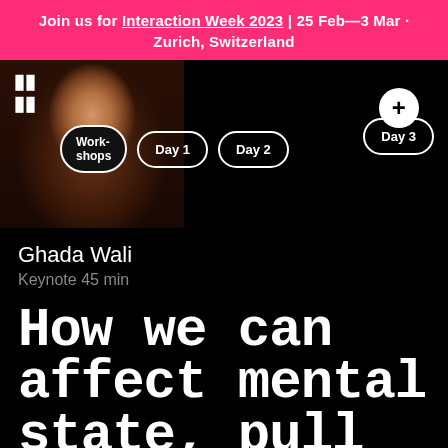Join us for Interaction Week 2023 | 25 Feb—3 Mar · Zurich, Switzerland
[Figure (photo): Portrait photo of Ghada Wali with curly hair and red lips, smiling, on black background. Navigation pills overlaid: Workshops, Day 1, Day 2, Day 3 with a plus circle above Day 3.]
Ghada Wali
Keynote 45 min
How we can affect mental state, pull emotional